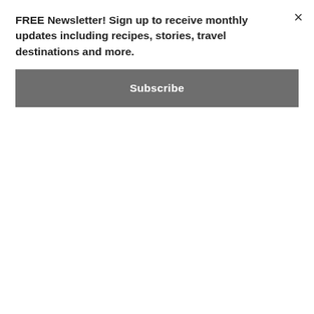FREE Newsletter! Sign up to receive monthly updates including recipes, stories, travel destinations and more.
Subscribe
geography, and focus on taste, provenance and seasonality.
While Susi Gott Séguret hails from the depths of Appalachia, she honed her culinary skills in France, where she earned a diploma in Gastronomy and Taste from the Cordon Bleu and the Université de Reims.
Mark Rosenstein is a chef, innovator, and author, always on the leading edge of the next best thing to serve humanity. With 50 years in the restaurant business since opening The Frog & Owl Café outside Highlands, North Carolina in 1972, and his flagship restaurant, The Market Place, in Asheville in 1979, he has actively fostered the link between grower, chef and diner at a time when the concept had not yet hit the